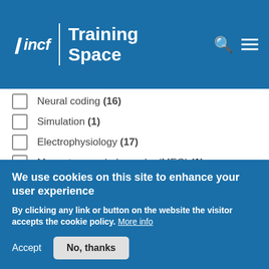INCF | Training Space
Neural coding (16)
Simulation (1)
Electrophysiology (17)
Magnetoencephalography (MEG) (1)
Cloud computing (1)
High performance computing (1)
Standards and best practices (11)
We use cookies on this site to enhance your user experience
By clicking any link or button on the website the visitor accepts the cookie policy. More info
Accept  No, thanks